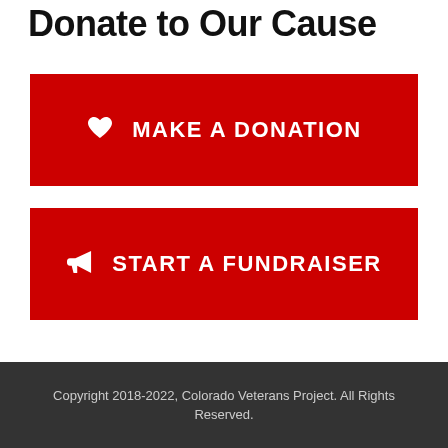Donate to Our Cause
[Figure (other): Red button with heart icon and text MAKE A DONATION]
[Figure (other): Red button with megaphone icon and text START A FUNDRAISER]
Copyright 2018-2022, Colorado Veterans Project. All Rights Reserved.